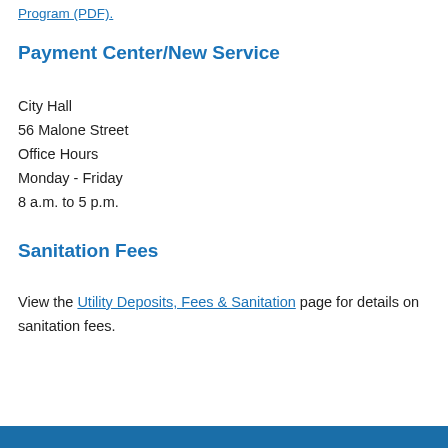Program (PDF).
Payment Center/New Service
City Hall
56 Malone Street
Office Hours
Monday - Friday
8 a.m. to 5 p.m.
Sanitation Fees
View the Utility Deposits, Fees & Sanitation page for details on sanitation fees.